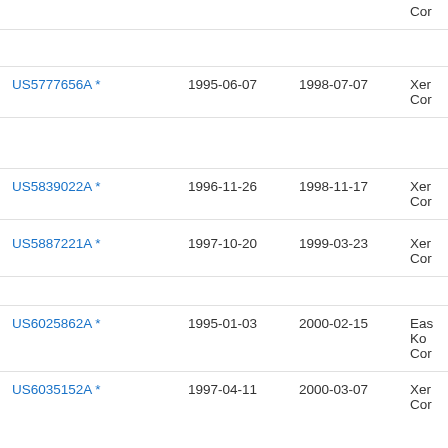| Patent | Filed | Published | Assignee |
| --- | --- | --- | --- |
|  |  |  | Cor |
| US5777656A * | 1995-06-07 | 1998-07-07 | Xer
Cor |
| US5839022A * | 1996-11-26 | 1998-11-17 | Xer
Cor |
| US5887221A * | 1997-10-20 | 1999-03-23 | Xer
Cor |
| US6025862A * | 1995-01-03 | 2000-02-15 | Eas
Ko
Cor |
| US6035152A * | 1997-04-11 | 2000-03-07 | Xer
Cor |